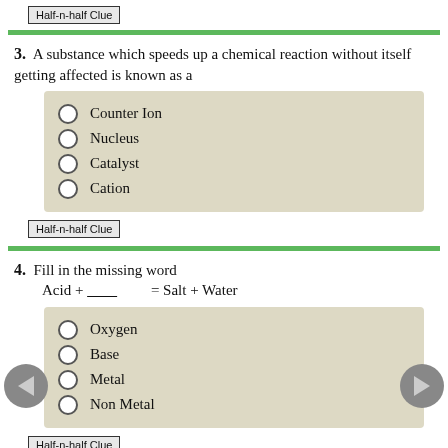Half-n-half Clue
3. A substance which speeds up a chemical reaction without itself getting affected is known as a
Counter Ion
Nucleus
Catalyst
Cation
Half-n-half Clue
4. Fill in the missing word
Acid + ________ = Salt + Water
Oxygen
Base
Metal
Non Metal
Half-n-half Clue
5. Which of the following gases is green in color?